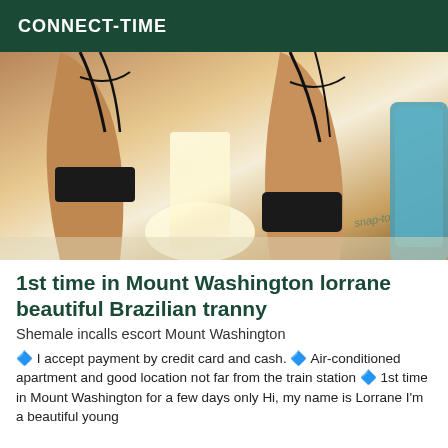CONNECT-TIME
[Figure (photo): Close-up photo of a person's legs wearing black lingerie/stockings, kneeling on a light carpet, with a blue chair visible in the background and a tattoo on the upper thigh.]
1st time in Mount Washington lorrane beautiful Brazilian tranny
Shemale incalls escort Mount Washington
🔷 I accept payment by credit card and cash. 🔷 Air-conditioned apartment and good location not far from the train station 🔷 1st time in Mount Washington for a few days only Hi, my name is Lorrane I'm a beautiful young